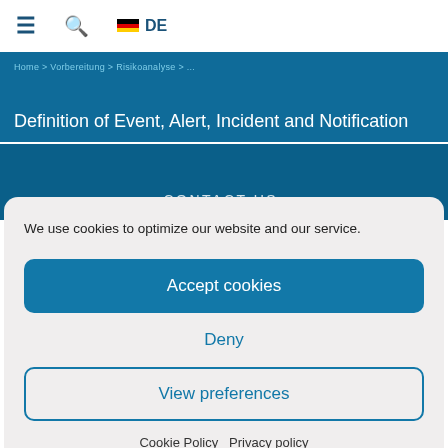≡  🔍  🇩🇪 DE
Definition of Event, Alert, Incident and Notification
CONTACT US:
We use cookies to optimize our website and our service.
Accept cookies
Deny
View preferences
Cookie Policy   Privacy policy